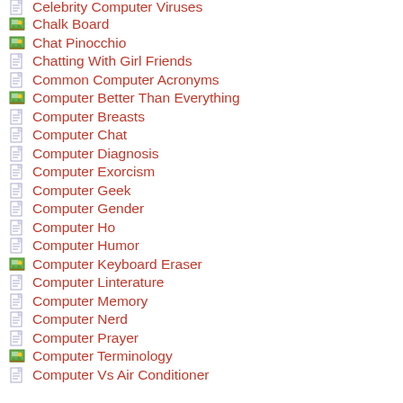Celebrity Computer Viruses
Chalk Board
Chat Pinocchio
Chatting With Girl Friends
Common Computer Acronyms
Computer Better Than Everything
Computer Breasts
Computer Chat
Computer Diagnosis
Computer Exorcism
Computer Geek
Computer Gender
Computer Ho
Computer Humor
Computer Keyboard Eraser
Computer Linterature
Computer Memory
Computer Nerd
Computer Prayer
Computer Terminology
Computer Vs Air Conditioner